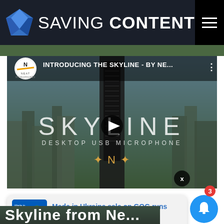SAVING CONTENT
[Figure (screenshot): YouTube video thumbnail for 'INTRODUCING THE SKYLINE - BY NE...' showing the Skyline Desktop USB Microphone with city skyline background and play button]
Made in Ukraine sale on GOG runs now until August
13 minutes ago
Skyline from Ne...